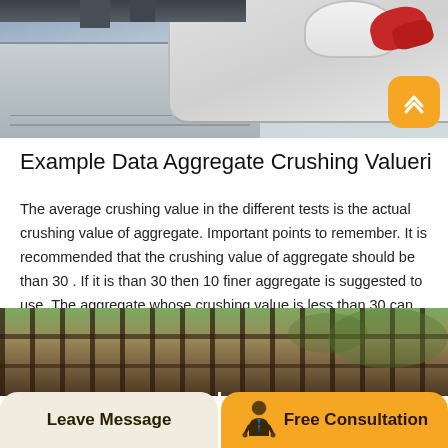[Figure (photo): Overhead view of industrial aggregate crushing machinery with concrete slab and red/white mechanical components visible]
Example Data Aggregate Crushing Valueri
The average crushing value in the different tests is the actual crushing value of aggregate. Important points to remember. It is recommended that the crushing value of aggregate should be than 30 . If it is than 30 then 10 finer aggregate is suggested to use. The aggregate whose crushing value is less than 30 can be used for.Sand Equivalent Value of Soils and Fine Aggregate • Categorie…
[Figure (photo): Bottom portion of image showing what appears to be industrial equipment or fence structure with wooden/brown tones]
Leave Message
Free Consultation